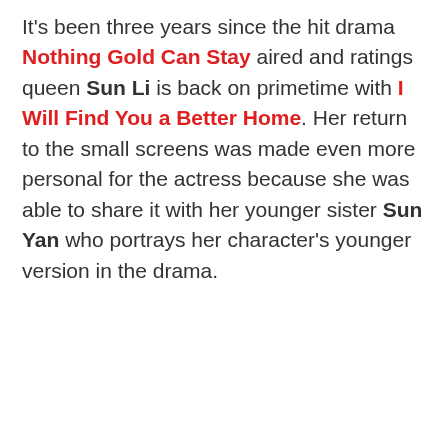It's been three years since the hit drama Nothing Gold Can Stay aired and ratings queen Sun Li is back on primetime with I Will Find You a Better Home. Her return to the small screens was made even more personal for the actress because she was able to share it with her younger sister Sun Yan who portrays her character's younger version in the drama.